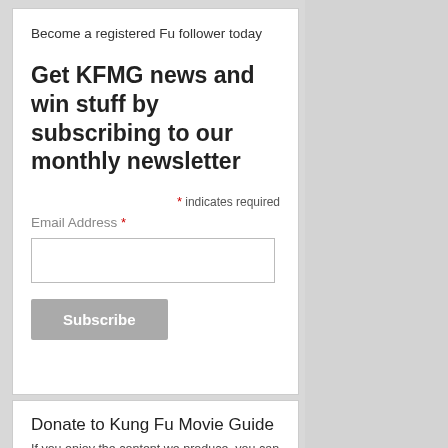Become a registered Fu follower today
Get KFMG news and win stuff by subscribing to our monthly newsletter
* indicates required
Email Address *
Donate to Kung Fu Movie Guide
If you enjoy the content we produce, you can donate to the Kung Fu Movie Guide via PayPal.